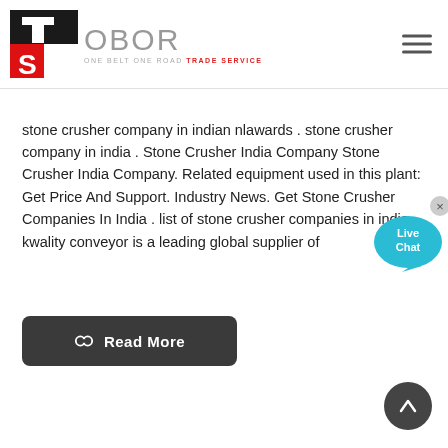[Figure (logo): OBOR (One Belt One Road Trade Service) logo with TS icon in red/black and OBOR text in gray]
stone crusher company in indian nlawards . stone crusher company in india . Stone Crusher India Company Stone Crusher India Company. Related equipment used in this plant: Get Price And Support. Industry News. Get Stone Crusher Companies In India . list of stone crusher companies in india. kwality conveyor is a leading global supplier of
[Figure (other): Live Chat speech bubble widget with blue bubble and white text]
[Figure (other): Read More button in dark gray with chain-link icon]
[Figure (other): Scroll to top circular button in dark gray with upward arrow]